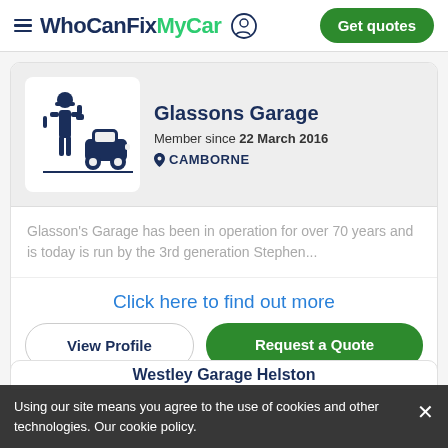WhoCanFixMyCar  Get quotes
Glassons Garage
Member since 22 March 2016
CAMBORNE
Glasson's Garage has been in operation for over 70 years and is today is run by the 3rd generation Stephen...
Click here to find out more
View Profile
Request a Quote
Using our site means you agree to the use of cookies and other technologies. Our cookie policy.
Westley Garage Helston